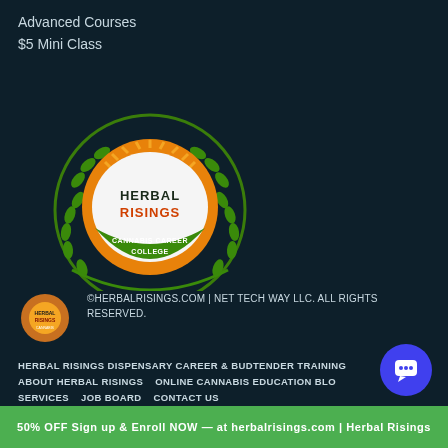Advanced Courses
$5 Mini Class
[Figure (logo): Herbal Risings Cannabis Career College circular logo with green laurel wreath, orange sunburst background, and text 'HERBAL RISINGS CANNABIS CAREER COLLEGE']
Herbal Risings Cannabis Career College & Online Course Certificate Program
[Figure (logo): Small Herbal Risings logo (footer version)]
©HERBALRISINGS.COM | NET TECH WAY LLC. ALL RIGHTS RESERVED.
HERBAL RISINGS DISPENSARY CAREER & BUDTENDER TRAINING   ABOUT HERBAL RISINGS   ONLINE CANNABIS EDUCATION BLOG   SERVICES   JOB BOARD   CONTACT US
50% OFF Sign up & Enroll NOW — at herbalrisings.com | Herbal Risings